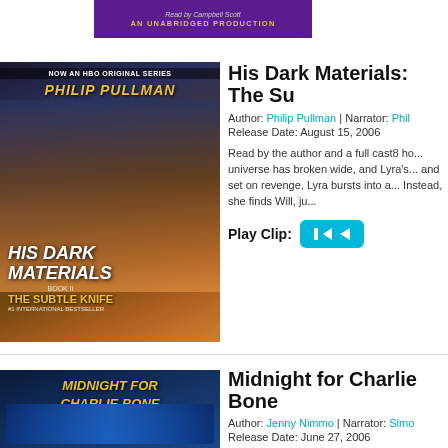[Figure (illustration): Audiobook banner: Read by Campbell Scott, AN UNABRIDGED PRODUCTION on purple background]
[Figure (illustration): His Dark Materials: The Subtle Knife audiobook cover — NOW AN HBO ORIGINAL SERIES, PHILIP PULLMAN, dark fantasy movie-style cover with characters]
His Dark Materials: The Su...
Author: Philip Pullman | Narrator: Phil...
Release Date: August 15, 2006
Read by the author and a full cast8 ho... universe has broken wide, and Lyra's... and set on revenge, Lyra bursts into a... Instead, she finds Will, ju...
Play Clip:
[Figure (illustration): Midnight for Charlie Bone audiobook cover — blue fantasy illustration with character]
Midnight for Charlie Bone...
Author: Jenny Nimmo | Narrator: Simo...
Release Date: June 27, 2006
What's happening to Charlie Bone?Ch... discovers that he can hear the though... horrible aunts are delighted – it mean... attend the Bloor...